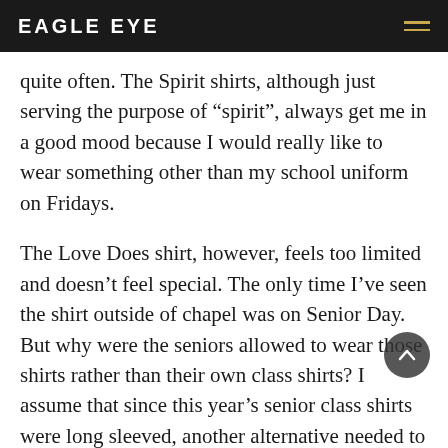EAGLE EYE
quite often. The Spirit shirts, although just serving the purpose of “spirit”, always get me in a good mood because I would really like to wear something other than my school uniform on Fridays.
The Love Does shirt, however, feels too limited and doesn’t feel special. The only time I’ve seen the shirt outside of chapel was on Senior Day. But why were the seniors allowed to wear those shirts rather than their own class shirts? I assume that since this year’s senior class shirts were long sleeved, another alternative needed to be selected so the students wouldn’t get hot and sweaty, so they went with the Love